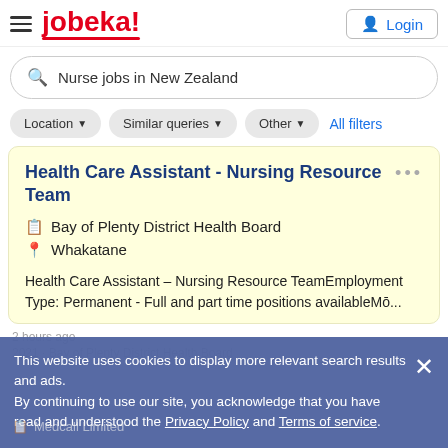jobeka! Login
Nurse jobs in New Zealand
Location ▼
Similar queries ▼
Other ▼
All filters
Health Care Assistant - Nursing Resource Team
Bay of Plenty District Health Board
Whakatane
Health Care Assistant – Nursing Resource TeamEmployment Type: Permanent - Full and part time positions availableMō...
This website uses cookies to display more relevant search results and ads.
By continuing to use our site, you acknowledge that you have read and understood the Privacy Policy and Terms of service.
Medcall Limited